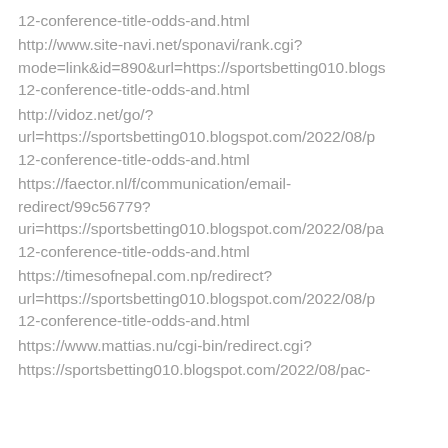12-conference-title-odds-and.html
http://www.site-navi.net/sponavi/rank.cgi?mode=link&id=890&url=https://sportsbetting010.blogs 12-conference-title-odds-and.html
http://vidoz.net/go/?url=https://sportsbetting010.blogspot.com/2022/08/p 12-conference-title-odds-and.html
https://faector.nl/f/communication/email-redirect/99c56779?uri=https://sportsbetting010.blogspot.com/2022/08/pa 12-conference-title-odds-and.html
https://timesofnepal.com.np/redirect?url=https://sportsbetting010.blogspot.com/2022/08/p 12-conference-title-odds-and.html
https://www.mattias.nu/cgi-bin/redirect.cgi?
https://sportsbetting010.blogspot.com/2022/08/pac-